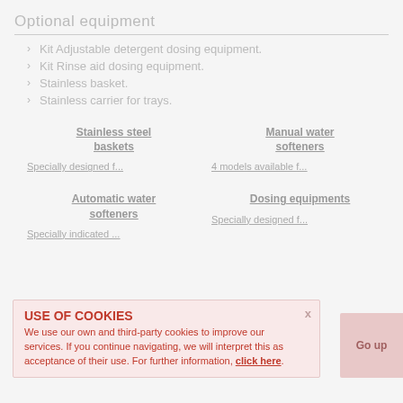Optional equipment
Kit Adjustable detergent dosing equipment.
Kit Rinse aid dosing equipment.
Stainless basket.
Stainless carrier for trays.
Stainless steel baskets
Manual water softeners
Specially designed f...
4 models available f...
Automatic water softeners
Dosing equipments
Specially indicated ...
Specially designed f...
USE OF COOKIES
We use our own and third-party cookies to improve our services. If you continue navigating, we will interpret this as acceptance of their use. For further information, click here.